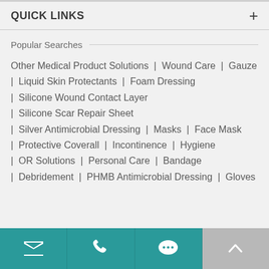QUICK LINKS
Popular Searches
Other Medical Product Solutions | Wound Care | Gauze | Liquid Skin Protectants | Foam Dressing | Silicone Wound Contact Layer | Silicone Scar Repair Sheet | Silver Antimicrobial Dressing | Masks | Face Mask | Protective Coverall | Incontinence | Hygiene | OR Solutions | Personal Care | Bandage | Debridement | PHMB Antimicrobial Dressing | Gloves